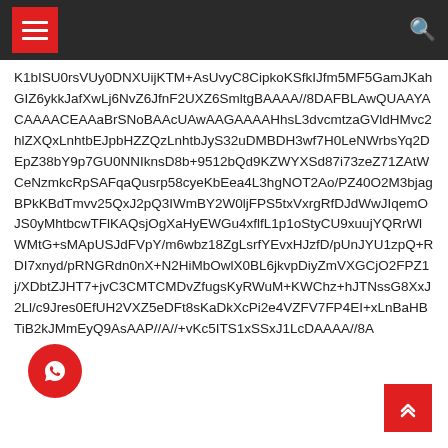Navigation header with hamburger menu and search icon
K1bISU0rsVUy0DNXUijKTM+AsUvyC8CipkoKSfkIJfm5MF5GamJKahGIZ6ykkJafXwLj6NvZ6JfnF2UXZ6SmltgBAAAA//8DAFBLAwQUAAYACAAAACEAAaBrSNoBAAcUAwAAGAAAAHhsL3dvcmtzaGVldHMvc2hlZXQxLnhtbEJpbHZZQzLnhtbJyS32uDMBDH3wf7H0LeNWrbsYq2DEpZ38bY9p7GU0NNIknsD8b+9512bQd9KZWYXSd87i73zeZ71ZAtWCeNzmkcRpSAFqaQusrp58cyeKbEea4L3hgNOT2Ao/PZ40O2M3bjagBPkKBdTmvv25QxJ2pQ3IWmBY2W0ljFPS5txVxrgRfDJdWwJIqemOJS0yMhtbcwTFlKAQsjOgXaHyEWGu4xflfL1p1oStyCU9xuujYQRrWlWMtG+sMApUSJdFVpY/m6wbz38ZgLsrfYEvxHJzfD/pUnJYU1zpQ+RDI7xnyd/pRNGRdn0nX+N2HiMbOwlX0BL6jkvpDiyZmVXGCjO2FPZ1j/XDbtZJHT7+jvC3CMTCMDvZfugsKyRWuM+KWChz+hJTNssG8XxJ2Ll/c9Jres0EfUH2VXZ5eDFt8sKaDkXcPi2e4VZFV7FP4EI+xLnBaHBTiB2kJMmEyQ9AsAAP//A//+vKc5ITS1xSSxJ1LcDAAAA//8A